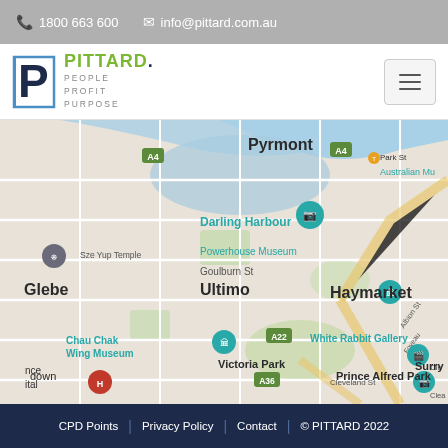1800 663 600   info@pittard.com.au
[Figure (logo): Pittard logo with P letterform and tagline People Profit Purpose]
[Figure (map): Google Maps view of Sydney showing Pyrmont, Darling Harbour, Glebe, Ultimo, Haymarket, Powerhouse Museum, Chau Chak Wing Museum, White Rabbit Gallery, Victoria Park, Prince Alfred Park, Surry Hills area]
CPD Points | Privacy Policy | Contact | © PITTARD 2022